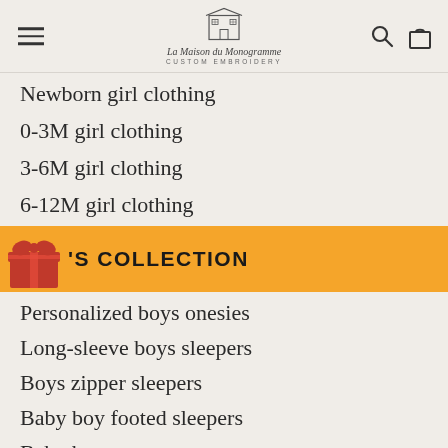La Maison du Monogramme CUSTOM EMBROIDERY
Newborn girl clothing
0-3M girl clothing
3-6M girl clothing
6-12M girl clothing
BOY'S COLLECTION
Personalized boys onesies
Long-sleeve boys sleepers
Boys zipper sleepers
Baby boy footed sleepers
Baby boy gowns
Newborn boy clothing